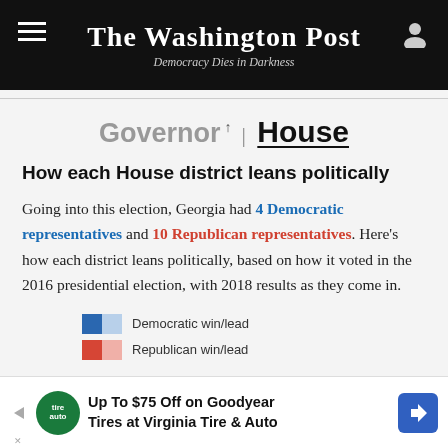The Washington Post — Democracy Dies in Darkness
Governor | House
How each House district leans politically
Going into this election, Georgia had 4 Democratic representatives and 10 Republican representatives. Here's how each district leans politically, based on how it voted in the 2016 presidential election, with 2018 results as they come in.
[Figure (infographic): Legend showing Democratic win/lead (dark blue + light blue swatch) and Republican win/lead (dark red + light red swatch)]
Up To $75 Off on Goodyear Tires at Virginia Tire & Auto